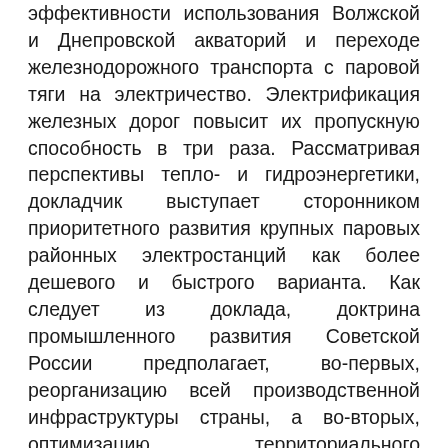эффективности использования Волжской и Днепровской акваторий и переходе железнодорожного транспорта с паровой тяги на электричество. Электрификация железных дорог повысит их пропускную способность в три раза. Рассматривая перспективы тепло- и гидроэнергетики, докладчик выступает сторонником приоритетного развития крупных паровых районных электростанций как более дешевого и быстрого варианта. Как следует из доклада, доктрина промышленного развития Советской России предполагает, во-первых, реорганизацию всей производственной инфраструктуры страны, а во-вторых, оптимизацию территориального размещения производительных сил. В основе того и другого лежит электрификация.